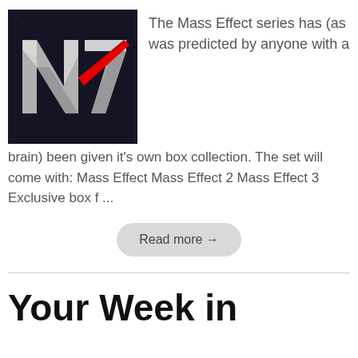[Figure (screenshot): N7 logo from Mass Effect series — silver metallic letters N7 with red diagonal slash on dark textured background]
The Mass Effect series has (as was predicted by anyone with a brain) been given it's own box collection. The set will come with: Mass Effect Mass Effect 2 Mass Effect 3 Exclusive box f ...
Read more →
Your Week in